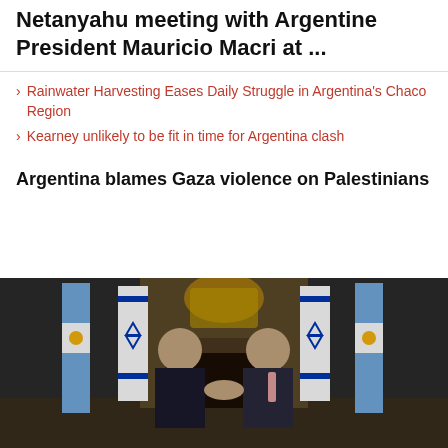Palestinians to visit Prime Minister Benjamin Netanyahu meeting with Argentine President Mauricio Macri at ...
Rainwater Harvesting Eases Daily Struggle in Argentina's Chaco Region
Kearney unlikely to be fit in time for Argentina clash
Argentina blames Gaza violence on Palestinians
[Figure (photo): Two men in suits shaking hands in an ornate hall, surrounded by Argentine and Israeli flags with golden decorations in the background]